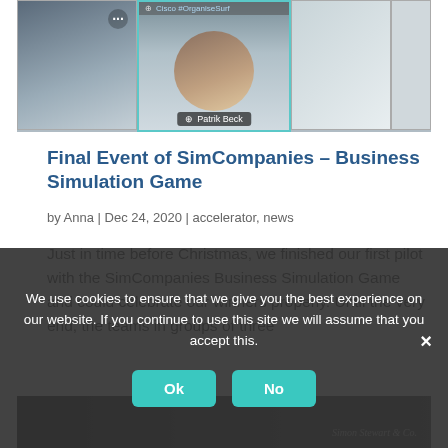[Figure (screenshot): Video conference screenshot showing multiple participants in a grid layout. Center participant labeled 'Patrik Beck' with teal border. Top bar shows 'Cisco #OrganiseSurf' label. Small participant panels on left and right.]
Final Event of SimCompanies – Business Simulation Game
by Anna | Dec 24, 2020 | accelerator, news
Just in time before Christmas, we finished our first pilot with the SimCompanies Business Simulation Game and could celebrate our winners properly. Until the very end, the teams in groups of three
We use cookies to ensure that we give you the best experience on our website. If you continue to use this site we will assume that you accept this.
[Figure (screenshot): Bottom partial screenshot showing a dark background with text 'Simon Stewart & Co.']